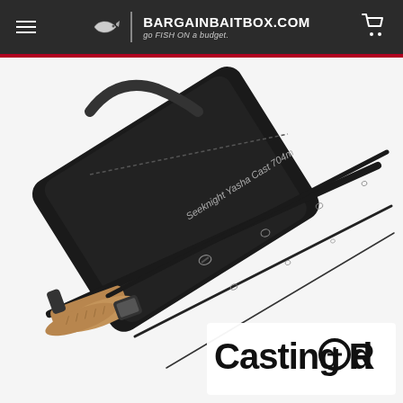BargainBaitBox.com — go FISH ON a budget.
[Figure (photo): A Seeknight Yasha Cast 704m fishing rod disassembled into four sections, laid beside its black carrying case with shoulder strap. The rod has a cork handle and black guides. Text on the lower right reads 'Casting Rod' with a circled plus symbol replacing the 'o' in Rod.]
Casting Rod